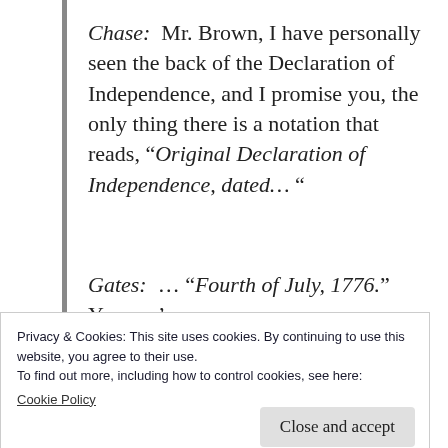Chase:  Mr. Brown, I have personally seen the back of the Declaration of Independence, and I promise you, the only thing there is a notation that reads, “Original Declaration of Independence, dated… “
Gates:  … “Fourth of July, 1776.” Yes, ma’am.
Privacy & Cookies: This site uses cookies. By continuing to use this website, you agree to their use.
To find out more, including how to control cookies, see here:
Cookie Policy
Close and accept
Chase:  Oh, right.